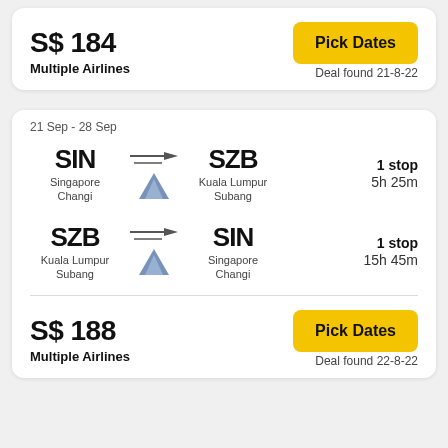S$ 184
Multiple Airlines
Pick Dates
Deal found 21-8-22
21 Sep - 28 Sep
SIN → SZB Singapore Changi → Kuala Lumpur Subang, 1 stop, 5h 25m
SZB → SIN Kuala Lumpur Subang → Singapore Changi, 1 stop, 15h 45m
S$ 188
Multiple Airlines
Pick Dates
Deal found 22-8-22